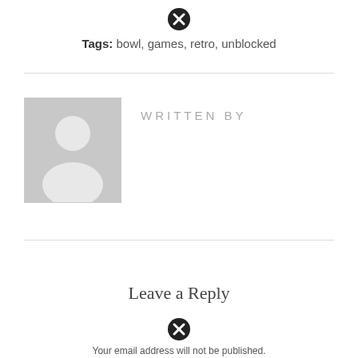[Figure (other): Close/cancel icon (circle with X) at top of page]
Tags: bowl, games, retro, unblocked
[Figure (illustration): Generic user avatar placeholder image (grey background with white silhouette figure)]
WRITTEN BY
Leave a Reply
[Figure (other): Close/cancel icon (circle with X) near bottom]
Your email address will not be published.